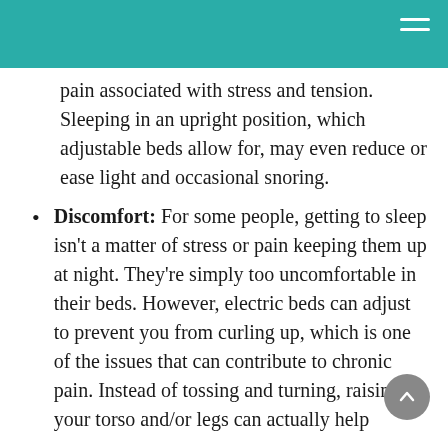pain associated with stress and tension. Sleeping in an upright position, which adjustable beds allow for, may even reduce or ease light and occasional snoring.
Discomfort: For some people, getting to sleep isn't a matter of stress or pain keeping them up at night. They're simply too uncomfortable in their beds. However, electric beds can adjust to prevent you from curling up, which is one of the issues that can contribute to chronic pain. Instead of tossing and turning, raising your torso and/or legs can actually help